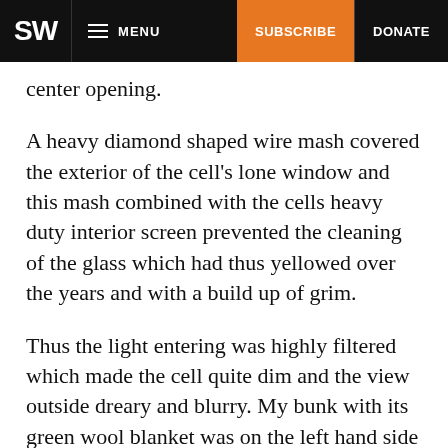SW | MENU | SUBSCRIBE | DONATE
center opening.
A heavy diamond shaped wire mash covered the exterior of the cell’s lone window and this mash combined with the cells heavy duty interior screen prevented the cleaning of the glass which had thus yellowed over the years and with a build up of grim.
Thus the light entering was highly filtered which made the cell quite dim and the view outside dreary and blurry. My bunk with its green wool blanket was on the left hand side as I entered with the window just behind and to the bunk’s right. The toilet and sink was